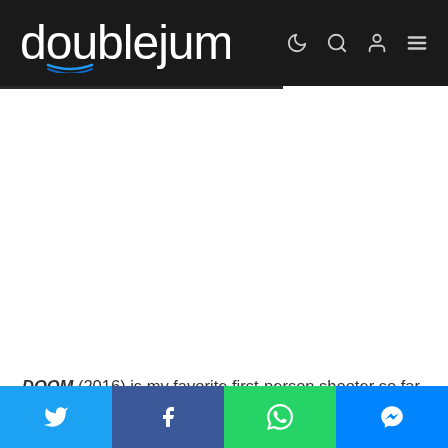doublejump
[Figure (other): White blank content area (advertisement or image placeholder)]
DOOM (2016) is my favorite first-person shooter so far. Nothing relaxes me more than rampaging through its stages,
[Figure (infographic): Social share bar with Twitter (blue), Facebook (dark blue), WhatsApp (green), and Messenger (blue) buttons]